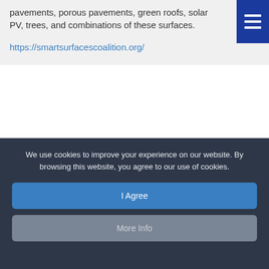pavements, porous pavements, green roofs, solar PV, trees, and combinations of these surfaces.
https://smartsurfacescoalition.org/
[Figure (screenshot): Blue light image strip at bottom of content area]
We use cookies to improve your experience on our website. By browsing this website, you agree to our use of cookies.
I Agree
More Info